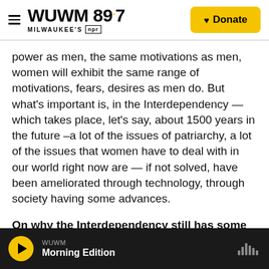WUWM 89.7 MILWAUKEE'S NPR — Donate
power as men, the same motivations as men, women will exhibit the same range of motivations, fears, desires as men do. But what's important is, in the Interdependency — which takes place, let's say, about 1500 years in the future –a lot of the issues of patriarchy, a lot of the issues that women have to deal with in our world right now are — if not solved, have been ameliorated through technology, through society having some advances.
On why the Interdependency still has some of our problems
WUWM Morning Edition